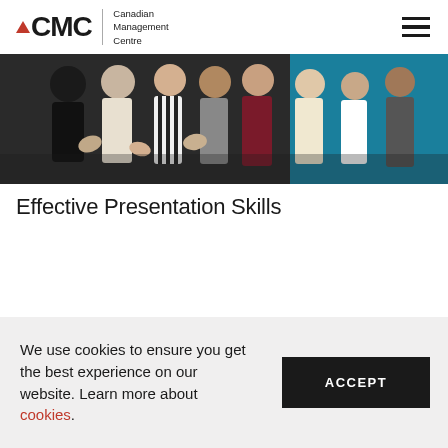CMC - Canadian Management Centre
[Figure (photo): Group of professionals at a presentation or seminar, applauding, with a teal/blue background on the right side.]
Effective Presentation Skills
We use cookies to ensure you get the best experience on our website. Learn more about cookies.